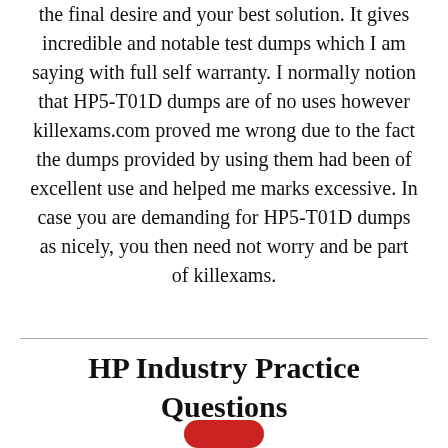the final desire and your best solution. It gives incredible and notable test dumps which I am saying with full self warranty. I normally notion that HP5-T01D dumps are of no uses however killexams.com proved me wrong due to the fact the dumps provided by using them had been of excellent use and helped me marks excessive. In case you are demanding for HP5-T01D dumps as nicely, you then need not worry and be part of killexams.
HP Industry Practice Questions